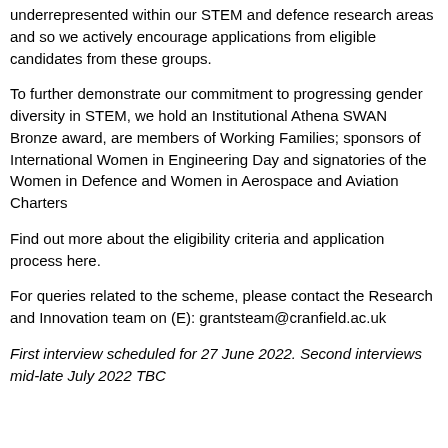underrepresented within our STEM and defence research areas and so we actively encourage applications from eligible candidates from these groups.
To further demonstrate our commitment to progressing gender diversity in STEM, we hold an Institutional Athena SWAN Bronze award, are members of Working Families; sponsors of International Women in Engineering Day and signatories of the Women in Defence and Women in Aerospace and Aviation Charters
Find out more about the eligibility criteria and application process here.
For queries related to the scheme, please contact the Research and Innovation team on (E): grantsteam@cranfield.ac.uk
First interview scheduled for 27 June 2022. Second interviews mid-late July 2022 TBC